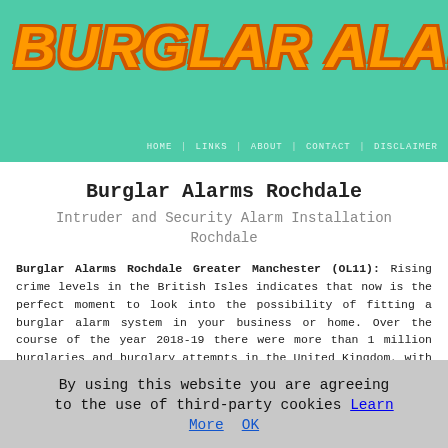BURGLAR ALARMS
HOME | LINKS | ABOUT | CONTACT | DISCLAIMER
Burglar Alarms Rochdale
Intruder and Security Alarm Installation Rochdale
Burglar Alarms Rochdale Greater Manchester (OL11): Rising crime levels in the British Isles indicates that now is the perfect moment to look into the possibility of fitting a burglar alarm system in your business or home. Over the course of the year 2018-19 there were more than 1 million burglaries and burglary attempts in the United Kingdom, with four hundred and twenty two thousand break-ins reported in England and Wales. (Source: Statista, Crime and Law Enforcement data).
By using this website you are agreeing to the use of third-party cookies Learn More OK